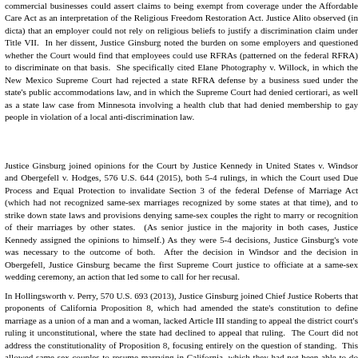commercial businesses could assert claims to being exempt from coverage under the Affordable Care Act as an interpretation of the Religious Freedom Restoration Act. Justice Alito observed (in dicta) that an employer could not rely on religious beliefs to justify a discrimination claim under Title VII. In her dissent, Justice Ginsburg noted the burden on some employers and questioned whether the Court would find that employees could use RFRAs (patterned on the federal RFRA) to discriminate on that basis. She specifically cited Elane Photography v. Willock, in which the New Mexico Supreme Court had rejected a state RFRA defense by a business sued under the state's public accommodations law, and in which the Supreme Court had denied certiorari, as well as a state law case from Minnesota involving a health club that had denied membership to gay people in violation of a local anti-discrimination law.
Justice Ginsburg joined opinions for the Court by Justice Kennedy in United States v. Windsor and Obergefell v. Hodges, 576 U.S. 644 (2015), both 5-4 rulings, in which the Court used Due Process and Equal Protection to invalidate Section 3 of the federal Defense of Marriage Act (which had not recognized same-sex marriages recognized by some states at that time), and to strike down state laws and provisions denying same-sex couples the right to marry or recognition of their marriages by other states. (As senior justice in the majority in both cases, Justice Kennedy assigned the opinions to himself.) As they were 5-4 decisions, Justice Ginsburg's vote was necessary to the outcome of both. After the decision in Windsor and the decision in Obergefell, Justice Ginsburg became the first Supreme Court justice to officiate at a same-sex wedding ceremony, an action that led some to call for her recusal.
In Hollingsworth v. Perry, 570 U.S. 693 (2013), Justice Ginsburg joined Chief Justice Roberts that proponents of California Proposition 8, which had amended the state's constitution to define marriage as a union of a man and a woman, lacked Article III standing to appeal the district court's ruling it unconstitutional, where the state had declined to appeal that ruling. The Court did not address the constitutionality of Proposition 8, focusing entirely on the question of standing. This allowed same-sex couples to resume marrying in California, which they had not been able to do since the law's passage in November 2008. Of course, Californian same-sex couples who